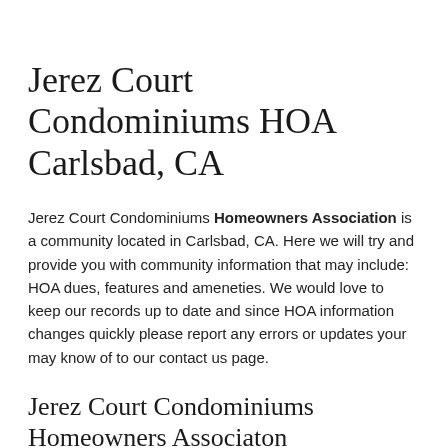Jerez Court Condominiums HOA Carlsbad, CA
Jerez Court Condominiums Homeowners Association is a community located in Carlsbad, CA. Here we will try and provide you with community information that may include: HOA dues, features and ameneties. We would love to keep our records up to date and since HOA information changes quickly please report any errors or updates your may know of to our contact us page.
Jerez Court Condominiums Homeowners Associaton
$350 Monthly